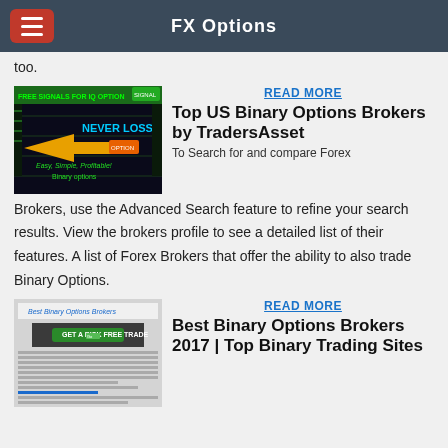FX Options
too.
[Figure (screenshot): Advertisement image with text 'FREE SIGNALS FOR IQ OPTION', 'NEVER LOSS', 'Easy, Simple, Profitable! Binary options' on dark background with yellow arrow]
READ MORE
Top US Binary Options Brokers by TradersAsset
To Search for and compare Forex Brokers, use the Advanced Search feature to refine your search results. View the brokers profile to see a detailed list of their features. A list of Forex Brokers that offer the ability to also trade Binary Options.
[Figure (screenshot): Best Binary Options Brokers page screenshot with 'GET A RISK FREE TRADE' button]
READ MORE
Best Binary Options Brokers 2017 | Top Binary Trading Sites